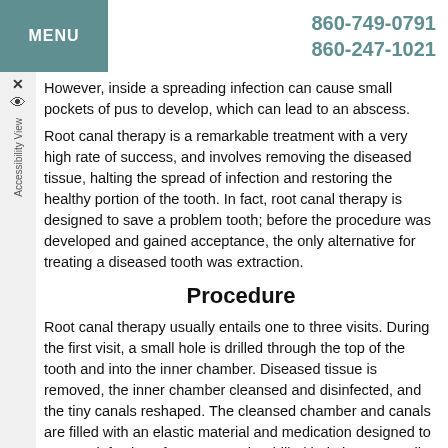MENU | 860-749-0791 860-247-1021
However, inside a spreading infection can cause small pockets of pus to develop, which can lead to an abscess.
Root canal therapy is a remarkable treatment with a very high rate of success, and involves removing the diseased tissue, halting the spread of infection and restoring the healthy portion of the tooth. In fact, root canal therapy is designed to save a problem tooth; before the procedure was developed and gained acceptance, the only alternative for treating a diseased tooth was extraction.
Procedure
Root canal therapy usually entails one to three visits. During the first visit, a small hole is drilled through the top of the tooth and into the inner chamber. Diseased tissue is removed, the inner chamber cleansed and disinfected, and the tiny canals reshaped. The cleansed chamber and canals are filled with an elastic material and medication designed to prevent infection. If necessary, the drilled hole is temporarily filled until a permanent seal is made with a crown.